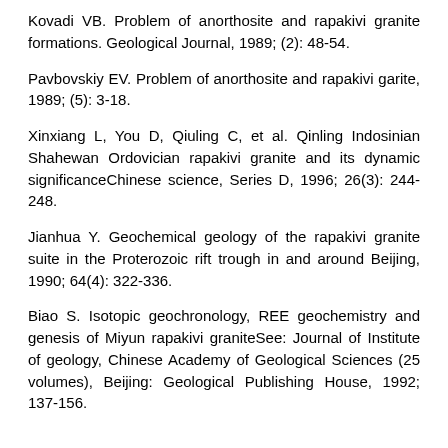Kovadi VB. Problem of anorthosite and rapakivi granite formations. Geological Journal, 1989; (2): 48-54.
Pavbovskiy EV. Problem of anorthosite and rapakivi garite, 1989; (5): 3-18.
Xinxiang L, You D, Qiuling C, et al. Qinling Indosinian Shahewan Ordovician rapakivi granite and its dynamic significanceChinese science, Series D, 1996; 26(3): 244-248.
Jianhua Y. Geochemical geology of the rapakivi granite suite in the Proterozoic rift trough in and around Beijing, 1990; 64(4): 322-336.
Biao S. Isotopic geochronology, REE geochemistry and genesis of Miyun rapakivi graniteSee: Journal of Institute of geology, Chinese Academy of Geological Sciences (25 volumes), Beijing: Geological Publishing House, 1992; 137-156.